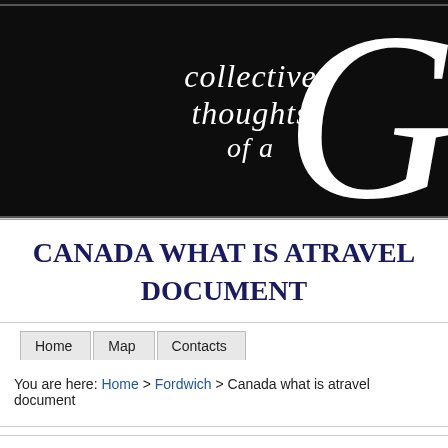[Figure (illustration): Black banner header with italic calligraphic text reading 'collective thoughts of a' and a large decorative white letter G on the right side]
CANADA WHAT IS ATRAVEL DOCUMENT
Home   Map   Contacts
You are here: Home > Fordwich > Canada what is atravel document